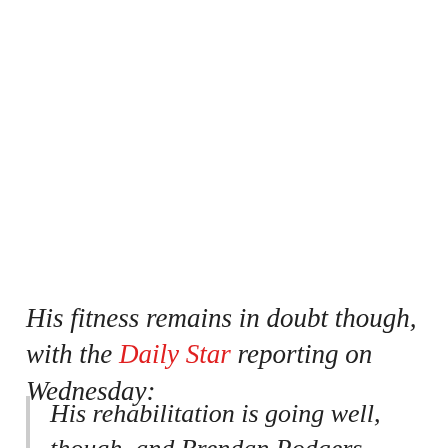His fitness remains in doubt though, with the Daily Star reporting on Wednesday:
His rehabilitation is going well, though, and Brendan Rodgers wants to add him to his squad